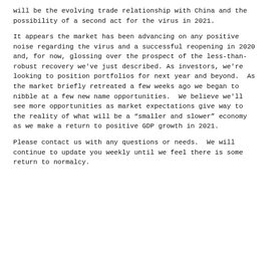will be the evolving trade relationship with China and the possibility of a second act for the virus in 2021.
It appears the market has been advancing on any positive noise regarding the virus and a successful reopening in 2020 and, for now, glossing over the prospect of the less-than-robust recovery we've just described. As investors, we're looking to position portfolios for next year and beyond.  As the market briefly retreated a few weeks ago we began to nibble at a few new name opportunities.  We believe we'll see more opportunities as market expectations give way to the reality of what will be a “smaller and slower” economy as we make a return to positive GDP growth in 2021.
Please contact us with any questions or needs.  We will continue to update you weekly until we feel there is some return to normalcy.